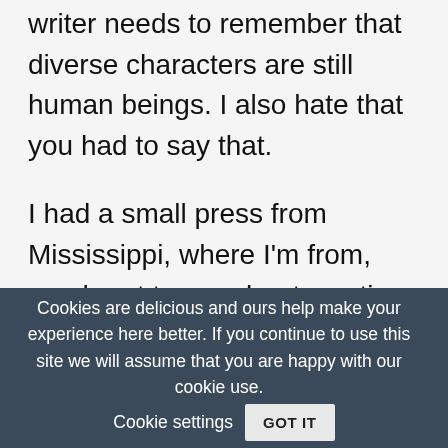writer needs to remember that diverse characters are still human beings. I also hate that you had to say that.
I had a small press from Mississippi, where I'm from, reach out to me about wanting to work with me. The minute they found out I was a lesbian they quickly let me know that they could not work with a story with LGBTQ+ characters, because they wouldn't
Cookies are delicious and ours help make your experience here better. If you continue to use this site we will assume that you are happy with our cookie use.  Cookie settings  GOT IT